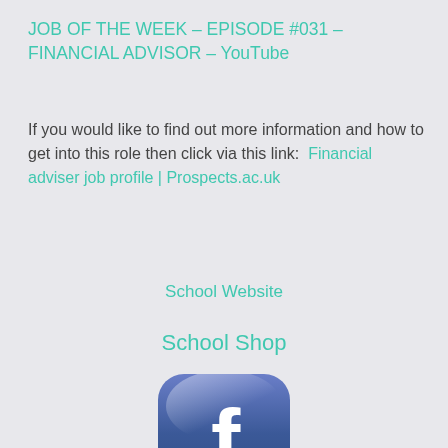JOB OF THE WEEK – EPISODE #031 – FINANCIAL ADVISOR – YouTube
If you would like to find out more information and how to get into this role then click via this link:  Financial adviser job profile | Prospects.ac.uk
School Website
School Shop
[Figure (logo): Facebook app icon with rounded square blue gradient background and white 'f' letter]